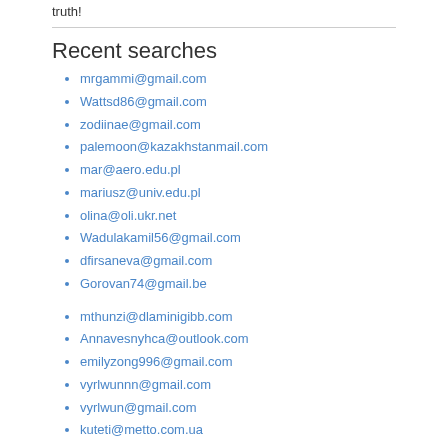truth!
Recent searches
mrgammi@gmail.com
Wattsd86@gmail.com
zodiinae@gmail.com
palemoon@kazakhstanmail.com
mar@aero.edu.pl
mariusz@univ.edu.pl
olina@oli.ukr.net
Wadulakamil56@gmail.com
dfirsaneva@gmail.com
Gorovan74@gmail.be
mthunzi@dlaminigibb.com
Annavesnyhca@outlook.com
emilyzong996@gmail.com
vyrlwunnn@gmail.com
vyrlwun@gmail.com
kuteti@metto.com.ua
Trovao939@gmail.com